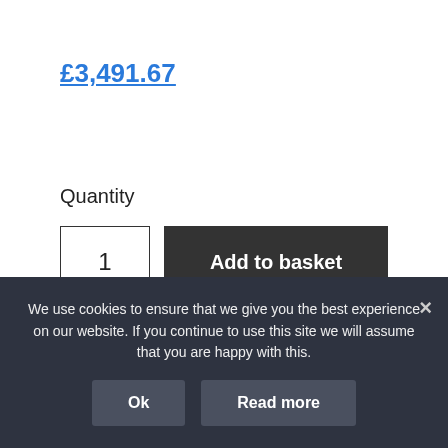£3,491.67
Quantity
1
Add to basket
[Figure (logo): PayPal button with yellow background, PayPal logo in blue italic text]
[Figure (other): Dark button with a white credit card icon]
We use cookies to ensure that we give you the best experience on our website. If you continue to use this site we will assume that you are happy with this.
Ok
Read more
Description